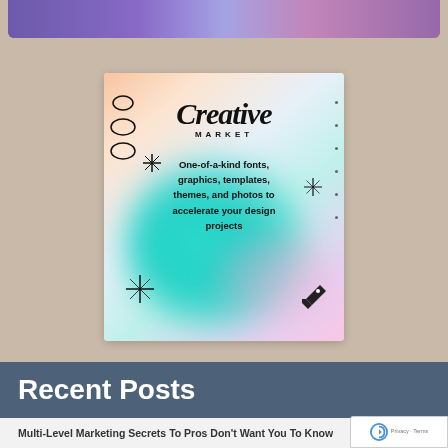[Figure (illustration): Creative Market advertisement card with pastel gradient background (peach, teal, pink), spiral notebook binding on left side, decorative star/sparkle symbols, price tag icon, text reading 'Creative Market' with tagline 'One-of-a-kind fonts, graphics, templates, themes, and photos to accelerate your design projects']
Recent Posts
Multi-Level Marketing Secrets To Pros Don't Want You To Know